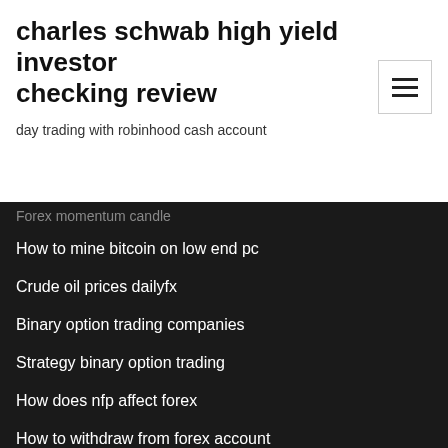charles schwab high yield investor checking review
day trading with robinhood cash account
Forex momentum candle
How to mine bitcoin on low end pc
Crude oil prices dailyfx
Binary option trading companies
Strategy binary option trading
How does nfp affect forex
How to withdraw from forex account
Featured Posts